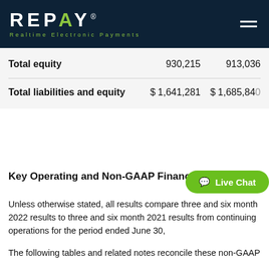REPAY Realtime Electronic Payments
|  |  |  |
| --- | --- | --- |
| Total equity | 930,215 | 913,036 |
| Total liabilities and equity | $ 1,641,281 | $ 1,685,840 |
Key Operating and Non-GAAP Financial Data
Unless otherwise stated, all results compare three and six month 2022 results to three and six month 2021 results from continuing operations for the period ended June 30,
The following tables and related notes reconcile these non-GAAP